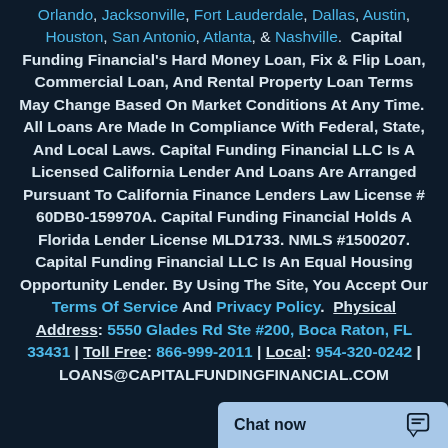Orlando, Jacksonville, Fort Lauderdale, Dallas, Austin, Houston, San Antonio, Atlanta, & Nashville. Capital Funding Financial's Hard Money Loan, Fix & Flip Loan, Commercial Loan, And Rental Property Loan Terms May Change Based On Market Conditions At Any Time. All Loans Are Made In Compliance With Federal, State, And Local Laws. Capital Funding Financial LLC Is A Licensed California Lender And Loans Are Arranged Pursuant To California Finance Lenders Law License # 60DB0-159970A. Capital Funding Financial Holds A Florida Lender License MLD1733. NMLS #1500207. Capital Funding Financial LLC Is An Equal Housing Opportunity Lender. By Using The Site, You Accept Our Terms Of Service And Privacy Policy. Physical Address: 5550 Glades Rd Ste #200, Boca Raton, FL 33431 | Toll Free: 866-999-2011 | Local: 954-320-0242 | LOANS@CAPITALFUNDINGFINANCIAL.COM